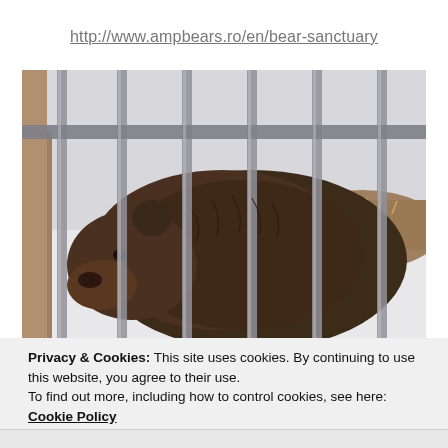http://www.ampbears.ro/en/bear-sanctuary
[Figure (photo): A brown bear behind metal fence bars in a snowy enclosure, viewed from the side. The bear has thick dark brown fur and is looking downward. Snow and dry grass visible in background.]
Privacy & Cookies: This site uses cookies. By continuing to use this website, you agree to their use.
To find out more, including how to control cookies, see here: Cookie Policy
Close and accept